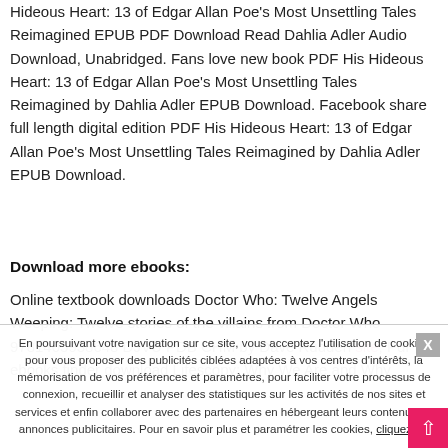Hideous Heart: 13 of Edgar Allan Poe's Most Unsettling Tales Reimagined EPUB PDF Download Read Dahlia Adler Audio Download, Unabridged. Fans love new book PDF His Hideous Heart: 13 of Edgar Allan Poe's Most Unsettling Tales Reimagined by Dahlia Adler EPUB Download. Facebook share full length digital edition PDF His Hideous Heart: 13 of Edgar Allan Poe's Most Unsettling Tales Reimagined by Dahlia Adler EPUB Download.
Download more ebooks:
Online textbook downloads Doctor Who: Twelve Angels Weeping: Twelve stories of the villains from Doctor Who 9781405938648 DJVU PDB CHM by Dave Rudden site, Pdf ebooks finder download Lifescopy: Why We Are and Why...
En poursuivant votre navigation sur ce site, vous acceptez l'utilisation de cookies pour vous proposer des publicités ciblées adaptées à vos centres d'intérêts, la mémorisation de vos préférences et paramètres, pour faciliter votre processus de connexion, recueillir et analyser des statistiques sur les activités de nos sites et services et enfin collaborer avec des partenaires en hébergeant leurs contenus ou annonces publicitaires. Pour en savoir plus et paramétrer les cookies, cliquez ici.